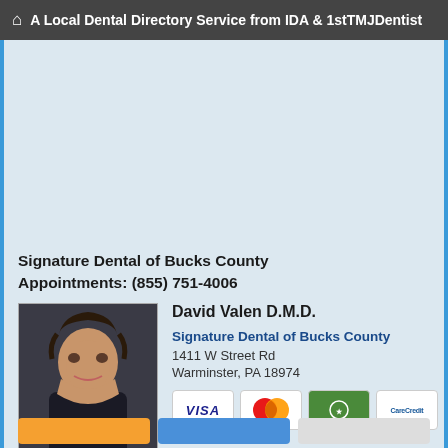A Local Dental Directory Service from IDA & 1stTMJDentist
[Figure (photo): Advertisement/banner placeholder area with light blue background]
Signature Dental of Bucks County Appointments: (855) 751-4006
[Figure (photo): Portrait photo of David Valen D.M.D., a man smiling, wearing a dark turtleneck, with dark hair, against a dark background]
David Valen D.M.D.
Signature Dental of Bucks County
1411 W Street Rd
Warminster, PA 18974
[Figure (other): Payment method icons: VISA, MasterCard, American Express (green), CareCredit]